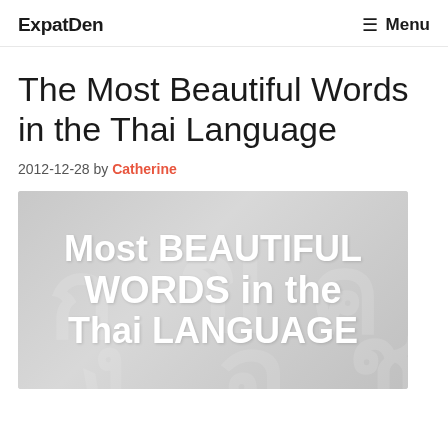ExpatDen   ☰ Menu
The Most Beautiful Words in the Thai Language
2012-12-28 by Catherine
[Figure (illustration): Featured image with light grey background and faint Thai character watermarks. Large white bold text reads: Most BEAUTIFUL WORDS in the Thai LANGUAGE]